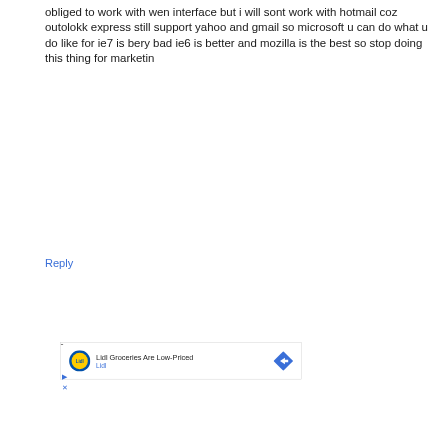obliged to work with wen interface but i will sont work with hotmail coz outolokk express still support yahoo and gmail so microsoft u can do what u do like for ie7 is bery bad ie6 is better and mozilla is the best so stop doing this thing for marketin
Reply
[Figure (other): Advertisement banner for Lidl Groceries showing Lidl logo, text 'Lidl Groceries Are Low-Priced' and 'Lidl', with a blue diamond arrow icon, and ad control buttons (play/close)]